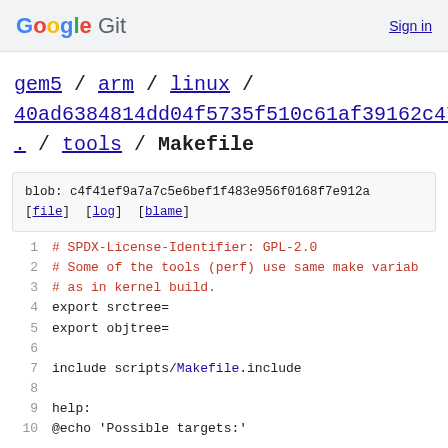Google Git  Sign in
gem5 / arm / linux / 40ad6384814dd04f5735f510c61af39162c47b20 / . / tools / Makefile
blob: c4f41ef9a7a7c5e6bef1f483e956f0168f7e912a
[file] [log] [blame]
1  # SPDX-License-Identifier: GPL-2.0
2  # Some of the tools (perf) use same make variab...
3  # as in kernel build.
4  export srctree=
5  export objtree=
6  
7  include scripts/Makefile.include
8  
9  help:
10  @echo 'Possible targets:'